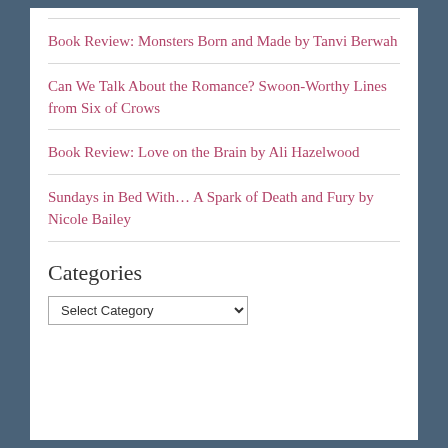Book Review: Monsters Born and Made by Tanvi Berwah
Can We Talk About the Romance? Swoon-Worthy Lines from Six of Crows
Book Review: Love on the Brain by Ali Hazelwood
Sundays in Bed With… A Spark of Death and Fury by Nicole Bailey
Categories
Select Category